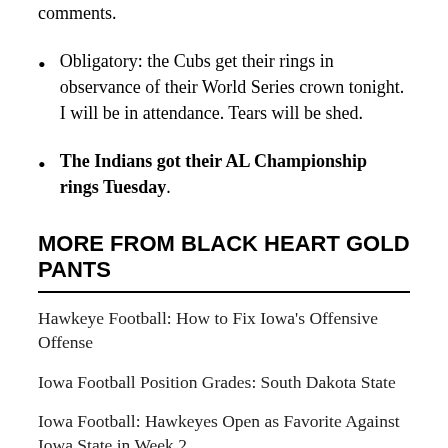comments.
Obligatory: the Cubs get their rings in observance of their World Series crown tonight. I will be in attendance. Tears will be shed.
The Indians got their AL Championship rings Tuesday.
MORE FROM BLACK HEART GOLD PANTS
Hawkeye Football: How to Fix Iowa's Offensive Offense
Iowa Football Position Grades: South Dakota State
Iowa Football: Hawkeyes Open as Favorite Against Iowa State in Week 2
The Morning After - SDSU
Iowa vs. Iowa State schedule...